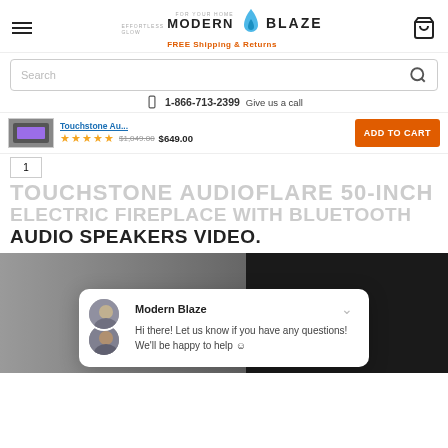MODERN BLAZE — FOR YOUR HOME — EFFORTLESS GLOW — FREE Shipping & Returns
Search
1-866-713-2399 Give us a call
Touchstone Au... $1,049.00 $649.00 ★★★★★ ADD TO CART
TOUCHSTONE AUDIOFLARE 50-INCH ELECTRIC FIREPLACE WITH BLUETOOTH AUDIO SPEAKERS VIDEO.
[Figure (screenshot): Video thumbnail showing fireplace with text overlay FIREPLACE WITH]
Modern Blaze
Hi there! Let us know if you have any questions! We'll be happy to help ☺